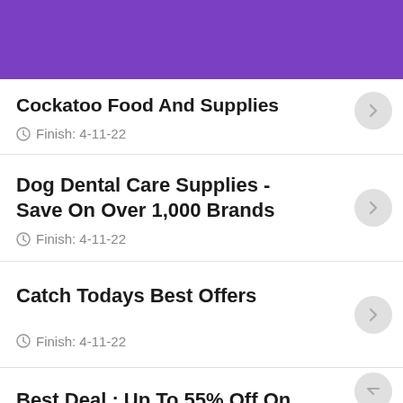Cockatoo Food And Supplies
Finish: 4-11-22
Dog Dental Care Supplies - Save On Over 1,000 Brands
Finish: 4-11-22
Catch Todays Best Offers
Finish: 4-11-22
Best Deal : Up To 55% Off On